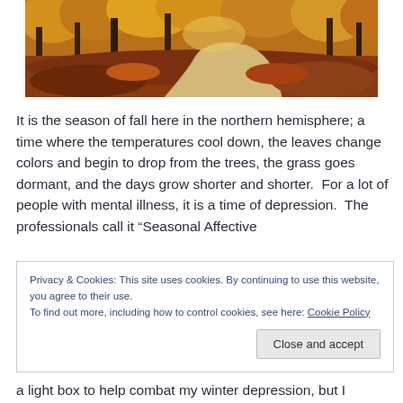[Figure (photo): Autumn forest path with winding trail, fallen red/orange leaves, and trees with fall foliage]
It is the season of fall here in the northern hemisphere; a time where the temperatures cool down, the leaves change colors and begin to drop from the trees, the grass goes dormant, and the days grow shorter and shorter.  For a lot of people with mental illness, it is a time of depression.  The professionals call it “Seasonal Affective
Privacy & Cookies: This site uses cookies. By continuing to use this website, you agree to their use.
To find out more, including how to control cookies, see here: Cookie Policy
a light box to help combat my winter depression, but I